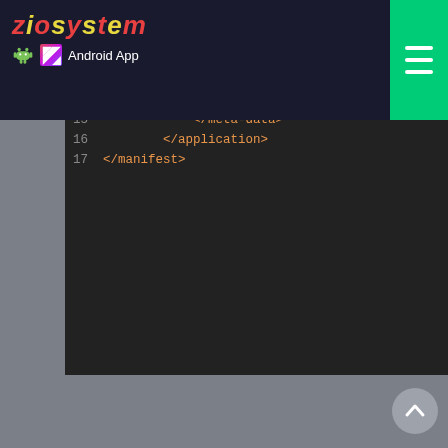[Figure (screenshot): Website header for 'ziosystem Android App' with logo (multicolored italic text), Android robot icon, Kotlin K icon, green hamburger menu button on the right]
[Figure (screenshot): Dark-themed code editor showing XML manifest snippet with line numbers 15-17: </meta-data>, </application>, </manifest> in orange, with preceding lines showing android:name and android:value attributes partially visible]